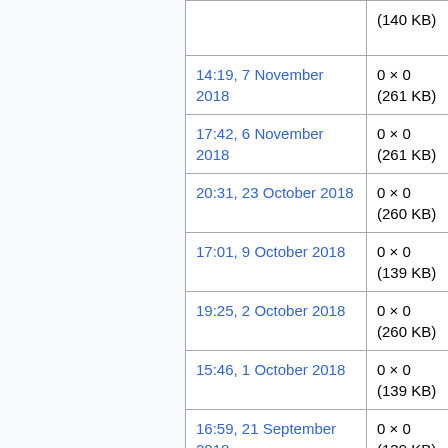| Date | Size |
| --- | --- |
|  | (140 KB) |
| 14:19, 7 November 2018 | 0 × 0
(261 KB) |
| 17:42, 6 November 2018 | 0 × 0
(261 KB) |
| 20:31, 23 October 2018 | 0 × 0
(260 KB) |
| 17:01, 9 October 2018 | 0 × 0
(139 KB) |
| 19:25, 2 October 2018 | 0 × 0
(260 KB) |
| 15:46, 1 October 2018 | 0 × 0
(139 KB) |
| 16:59, 21 September 2018 | 0 × 0
(139 KB) |
| 20:46, 13 September 2018 | 0 × 0
(139 KB) |